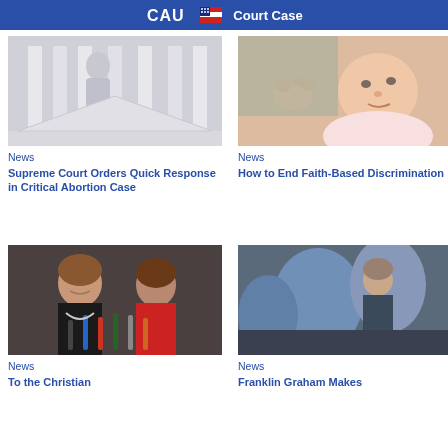Court Case
[Figure (photo): Statue outside US Supreme Court building with marble columns]
News
Supreme Court Orders Quick Response in Critical Abortion Case
[Figure (photo): Newborn baby being held by adult hands]
News
How to End Faith-Based Discrimination
[Figure (photo): Two women at a press conference with microphones]
News
To the Christian
[Figure (photo): Man with blue balloons or equipment in background]
News
Franklin Graham Makes